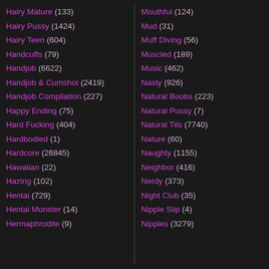Hairy Mature (133)
Hairy Pussy (1424)
Hairy Teen (604)
Handcuffs (79)
Handjob (6622)
Handjob & Cumshot (2419)
Handjob Compilation (227)
Happy Ending (75)
Hard Fucking (404)
Hardbodied (1)
Hardcore (26845)
Hawaiian (22)
Hazing (102)
Hentai (729)
Hentai Monster (14)
Hermaphrodite (9)
Mouthful (124)
Mud (31)
Muff Diving (56)
Muscled (189)
Music (462)
Nasty (926)
Natural Boobs (223)
Natural Pussy (7)
Natural Tits (7740)
Nature (60)
Naughty (1155)
Neighbor (416)
Nerdy (373)
Night Club (35)
Nipple Slip (4)
Nipples (3279)